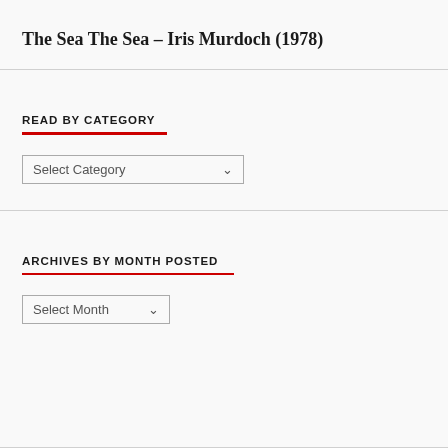The Sea The Sea – Iris Murdoch (1978)
READ BY CATEGORY
Select Category
ARCHIVES BY MONTH POSTED
Select Month